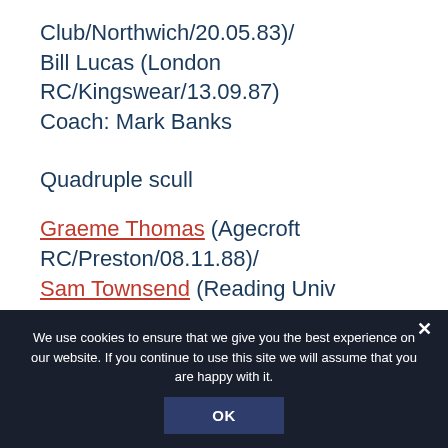Club/Northwich/20.05.83)/
Bill Lucas (London RC/Kingswear/13.09.87)
Coach: Mark Banks
Quadruple scull
Graeme Thomas (Agecroft RC/Preston/08.11.88)/
Sam Townsend (Reading Univ BC/Reading/26.11.85)/
Charles Cousins (Leander Club/Willingham/13.12.88)/
We use cookies to ensure that we give you the best experience on our website. If you continue to use this site we will assume that you are happy with it.